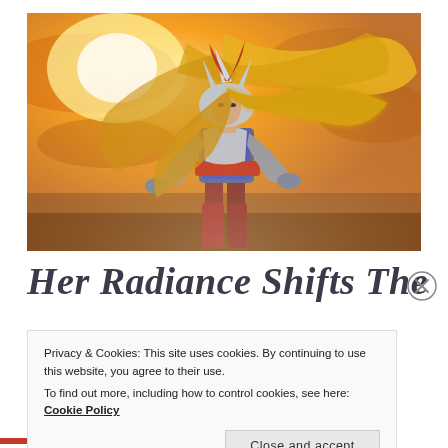[Figure (illustration): Fantasy warrior woman in golden armor and horned helmet, flowing golden hair/cape, dramatic sky background with orange and golden light]
Her Radiance Shifts The
Privacy & Cookies: This site uses cookies. By continuing to use this website, you agree to their use.
To find out more, including how to control cookies, see here: Cookie Policy
Close and accept